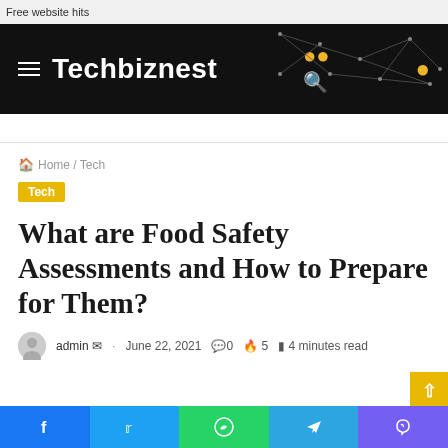Free website hits
[Figure (logo): Techbiznest website header with dark background, hamburger menu icon, site title 'Techbiznest' in white, search icon in yellow, and decorative network graph lines]
Home / Tech
Tech
What are Food Safety Assessments and How to Prepare for Them?
admin · June 22, 2021 0 5 4 minutes read